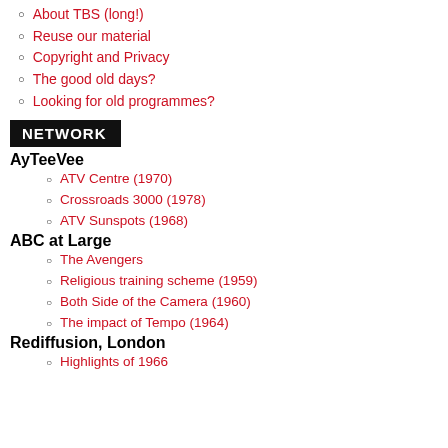About TBS (long!)
Reuse our material
Copyright and Privacy
The good old days?
Looking for old programmes?
NETWORK
AyTeeVee
ATV Centre (1970)
Crossroads 3000 (1978)
ATV Sunspots (1968)
ABC at Large
The Avengers
Religious training scheme (1959)
Both Side of the Camera (1960)
The impact of Tempo (1964)
Rediffusion, London
Highlights of 1966